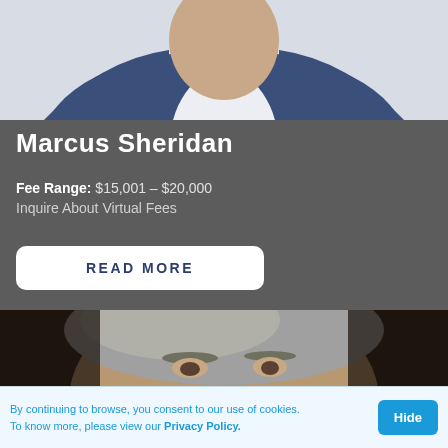[Figure (photo): Top portion of a man in a blue blazer and white shirt, cropped at chest level, against a light background]
Marcus Sheridan
Fee Range: $15,001 – $20,000
Inquire About Virtual Fees
READ MORE
[Figure (photo): Close-up photo of an older man with grey hair, smiling, against a dark background]
By continuing to browse, you consent to our use of cookies. To know more, please view our Privacy Policy.